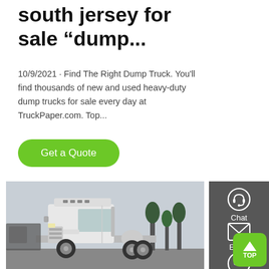south jersey for sale "dump...
10/9/2021 · Find The Right Dump Truck. You'll find thousands of new and used heavy-duty dump trucks for sale every day at TruckPaper.com. Top...
[Figure (illustration): Green rounded button labeled 'Get a Quote']
[Figure (photo): White HOWO heavy-duty semi truck / tractor unit parked in a yard with trees in the background]
[Figure (infographic): Dark gray right sidebar with Chat (headset icon), Email (envelope icon), and Contact (speech bubble icon) options, and a green TOP button in the bottom right corner]